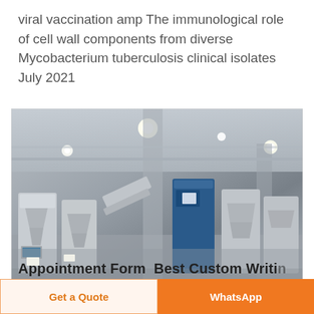viral vaccination amp The immunological role of cell wall components from diverse Mycobacterium tuberculosis clinical isolates July 2021
[Figure (photo): Industrial factory floor showing multiple stainless steel packaging or processing machines arranged in rows inside a large warehouse-like building with concrete pillars and overhead lighting.]
Appointment Form Best Custom Writing
Get a Quote
WhatsApp